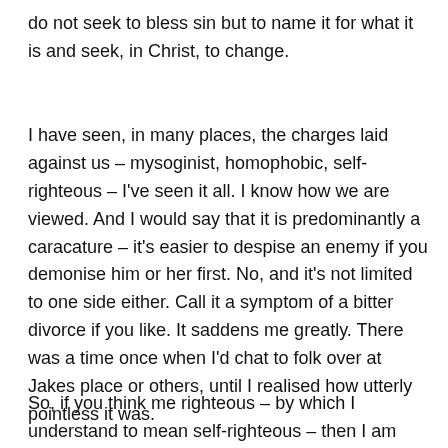do not seek to bless sin but to name it for what it is and seek, in Christ, to change.
I have seen, in many places, the charges laid against us – mysoginist, homophobic, self-righteous – I've seen it all. I know how we are viewed. And I would say that it is predominantly a caracature – it's easier to despise an enemy if you demonise him or her first. No, and it's not limited to one side either. Call it a symptom of a bitter divorce if you like. It saddens me greatly. There was a time once when I'd chat to folk over at Jakes place or others, until I realised how utterly pointless it was.
So, if you think me righteous – by which I understand to mean self-righteous – then I am